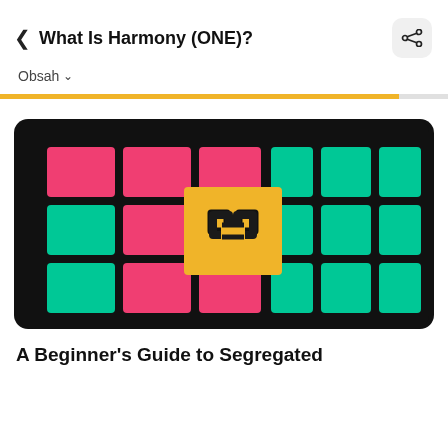What Is Harmony (ONE)?
Obsah
[Figure (illustration): Harmony ONE blockchain illustration: dark rounded rectangle background with a grid of pink/red and teal/green square tiles, with a central yellow square containing the Harmony (ONE) logo — two overlapping diamond chain link shapes in black.]
A Beginner's Guide to Segregated